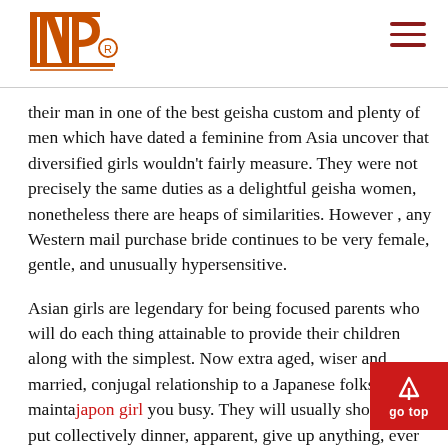INP logo and navigation
their man in one of the best geisha custom and plenty of men which have dated a feminine from Asia uncover that diversified girls wouldn't fairly measure. They were not precisely the same duties as a delightful geisha women, nonetheless there are heaps of similarities. However , any Western mail purchase bride continues to be very female, gentle, and unusually hypersensitive.
Asian girls are legendary for being focused parents who will do each thing attainable to provide their children along with the simplest. Now extra aged, wiser and married, conjugal relationship to a Japanese folks will maintain japon girl you busy. They will usually shouldn't put collectively dinner, apparent, give up anything, ever